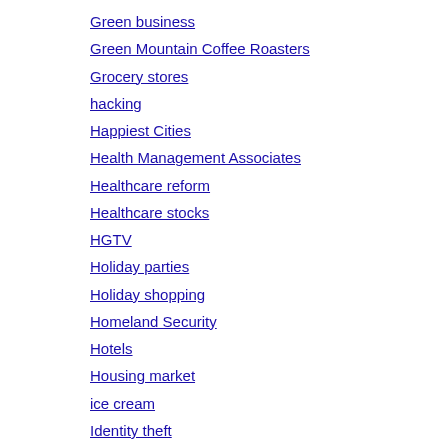Green business
Green Mountain Coffee Roasters
Grocery stores
hacking
Happiest Cities
Health Management Associates
Healthcare reform
Healthcare stocks
HGTV
Holiday parties
Holiday shopping
Homeland Security
Hotels
Housing market
ice cream
Identity theft
IdleAire
IHouse
Inc 5000